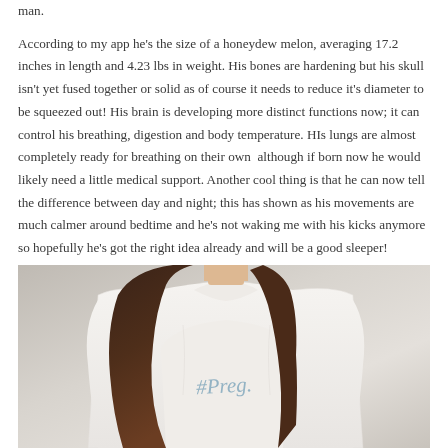man.
According to my app he’s the size of a honeydew melon, averaging 17.2 inches in length and 4.23 lbs in weight. His bones are hardening but his skull isn’t yet fused together or solid as of course it needs to reduce it’s diameter to be squeezed out! His brain is developing more distinct functions now; it can control his breathing, digestion and body temperature. HIs lungs are almost completely ready for breathing on their own  although if born now he would likely need a little medical support. Another cool thing is that he can now tell the difference between day and night; this has shown as his movements are much calmer around bedtime and he’s not waking me with his kicks anymore so hopefully he’s got the right idea already and will be a good sleeper!
[Figure (photo): A woman wearing a white t-shirt with '#Preg.' written on it in blue handwriting, shown from chest level, with long brown hair. Background is light grey/beige.]